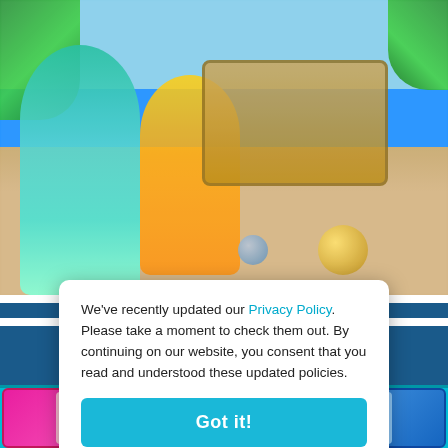[Figure (screenshot): Blurred beach-themed dress-up game screenshot with two cartoon princess characters on a sandy beach with palm trees, blue ocean, and a wooden sign board in the background]
[Figure (screenshot): Privacy policy consent popup dialog overlay on a game website. Contains text about updated Privacy Policy with a teal link, and a 'Got it!' button. Below are game thumbnails including 'Popstar Dressup' and another game card.]
We've recently updated our Privacy Policy. Please take a moment to check them out. By continuing on our website, you consent that you read and understood these updated policies.
Got it!